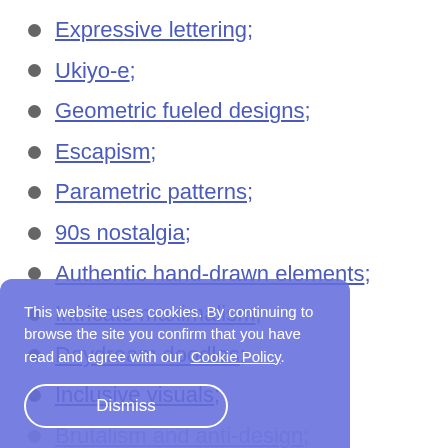Expressive lettering;
Ukiyo-e;
Geometric fueled designs;
Escapism;
Parametric patterns;
90s nostalgia;
Authentic hand-drawn elements;
Intricate maximalism;
Daydream doodles;
Inclusive visuals;
Brutalism and anti-design;
Mixed media design;
Paper cutout;
Y2K;
This website uses cookies. By continuing to browse the site you confirm that you have read and agree with our Cookie Policy.